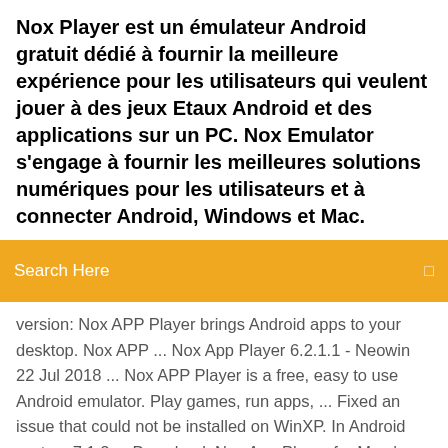Nox Player est un émulateur Android gratuit dédié à fournir la meilleure expérience pour les utilisateurs qui veulent jouer à des jeux Etaux Android et des applications sur un PC. Nox Emulator s'engage à fournir les meilleures solutions numériques pour les utilisateurs et à connecter Android, Windows et Mac.
Search Here
version: Nox APP Player brings Android apps to your desktop. Nox APP ... Nox App Player 6.2.1.1 - Neowin 22 Jul 2018 ... Nox APP Player is a free, easy to use Android emulator. Play games, run apps, ... Fixed an issue that could not be installed on WinXP. In Android system 7.1.2 ... Download: Nox App Player for Mac | 366.0 MB View: Nox App ... Nox App Player - MouthShut.com I downloaded it but I am totally not satisfied with this product. When I install this .... NOX app Player is best android emulator for Windows and Mac OS. I used this ...